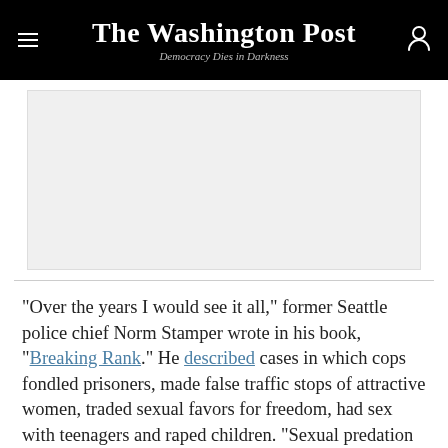The Washington Post — Democracy Dies in Darkness
[Figure (other): Advertisement placeholder — light gray rectangle]
"Over the years I would see it all," former Seattle police chief Norm Stamper wrote in his book, "Breaking Rank." He described cases in which cops fondled prisoners, made false traffic stops of attractive women, traded sexual favors for freedom, had sex with teenagers and raped children. "Sexual predation by police officers does not cause me fear, I am beyond that."